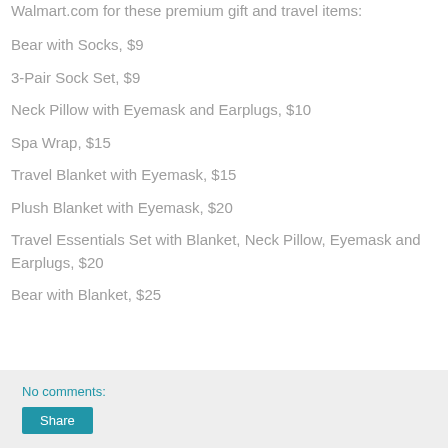Walmart.com for these premium gift and travel items:
Bear with Socks, $9
3-Pair Sock Set, $9
Neck Pillow with Eyemask and Earplugs, $10
Spa Wrap, $15
Travel Blanket with Eyemask, $15
Plush Blanket with Eyemask, $20
Travel Essentials Set with Blanket, Neck Pillow, Eyemask and Earplugs, $20
Bear with Blanket, $25
No comments:
Share